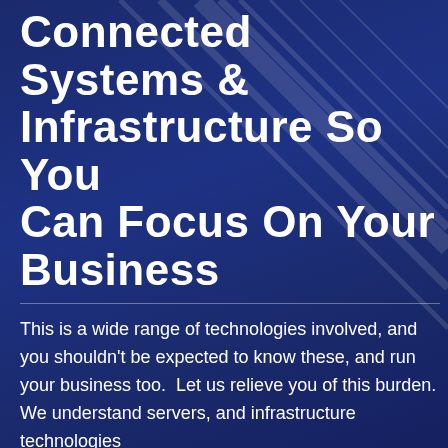Connected Systems & Infrastructure So You Can Focus On Your Business
This is a wide range of technologies involved, and you shouldn't be expected to know these, and run your business too.  Let us relieve you of this burden.  We understand servers, and infrastructure technologies
GET STARTED